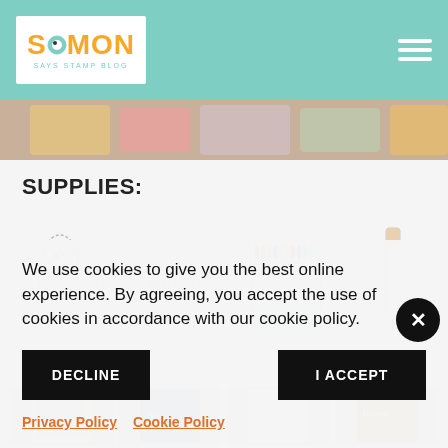Simon Says Stamp Blog
[Figure (photo): Partial banner photo showing colorful craft cookies/donuts on a wooden surface]
SUPPLIES:
[Figure (photo): Row of craft supply product images: llama die cut, 'enjoy' stamp, Copic markers set of 60, and a white marker/pen]
We use cookies to give you the best online experience. By agreeing, you accept the use of cookies in accordance with our cookie policy.
DECLINE
I ACCEPT
Privacy Policy   Cookie Policy
[Figure (photo): Bottom row of more product thumbnail images including Distress products]